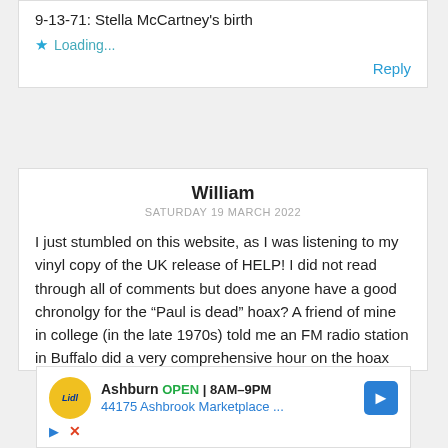9-13-71: Stella McCartney's birth
Loading...
Reply
William
SATURDAY 19 MARCH 2022
I just stumbled on this website, as I was listening to my vinyl copy of the UK release of HELP! I did not read through all of comments but does anyone have a good chronolgy for the “Paul is dead” hoax? A friend of mine in college (in the late 1970s) told me an FM radio station in Buffalo did a very comprehensive hour on the hoax
[Figure (other): Advertisement for Lidl in Ashburn: OPEN 8AM-9PM, 44175 Ashbrook Marketplace...]